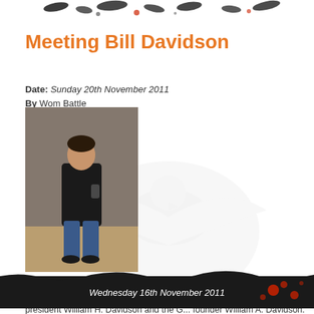[Figure (illustration): Decorative header with splattered ink/paint design in black and red on white background]
Meeting Bill Davidson
Date: Sunday 20th November 2011
By Wom Battle
[Figure (photo): Photo of a man standing indoors, wearing a black leather jacket and jeans, holding something, with a stone wall in the background]
Over the last few days at the National HOG Rally I've had the opportunity to meet and ch... Davidson, grandson of former Harley-Davidson president William H. Davidson and the G... founder William A. Davidson.
Bill is at the time of writing the Vice
...more
Category: Unrelated Crap
[Figure (illustration): Decorative footer with splattered ink/paint design in black and red, with text 'Wednesday 16th November 2011']